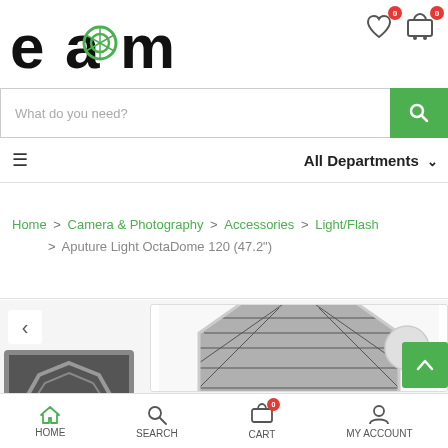[Figure (logo): Elite Aperture Mobitech logo with stylized 'eam' letters in black and green, with camera aperture icon]
Elite Aperture Mobitech
[Figure (illustration): Heart/wishlist icon with badge showing 0]
[Figure (illustration): Shopping cart icon with badge showing 0]
What do you need?
[Figure (illustration): Search magnifying glass icon on green button]
≡   All Departments ∨
Home > Camera & Photography > Accessories > Light/Flash > Aputure Light OctaDome 120 (47.2")
[Figure (photo): Thumbnail of octagonal light modifier (OctaDome) seen from front]
[Figure (photo): Main product image of Aputure Light OctaDome 120 showing grid/honeycomb softbox from side angle]
[Figure (illustration): Scroll to top button (green with up arrow)]
HOME
SEARCH
CART
MY ACCOUNT